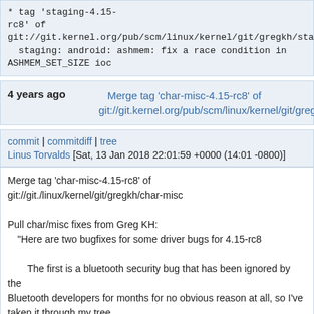* tag 'staging-4.15-rc8' of git://git.kernel.org/pub/scm/linux/kernel/git/gregkh/staging:
  staging: android: ashmem: fix a race condition in ASHMEM_SET_SIZE ioc
4 years ago   Merge tag 'char-misc-4.15-rc8' of git://git.kernel.org/pub/scm/linux/kernel/git/gregk...
commit | commitdiff | tree
Linus Torvalds [Sat, 13 Jan 2018 22:01:59 +0000 (14:01 -0800)]
Merge tag 'char-misc-4.15-rc8' of git://git./linux/kernel/git/gregkh/char-misc

Pull char/misc fixes from Greg KH:
 "Here are two bugfixes for some driver bugs for 4.15-rc8

  The first is a bluetooth security bug that has been ignored by the
  Bluetooth developers for months for no obvious reason at all, so I've
  taken it through my tree.

  The second is a simple double-free bug in the mux subsystem.

  Both have been in linux-next for a while with no reported issues"